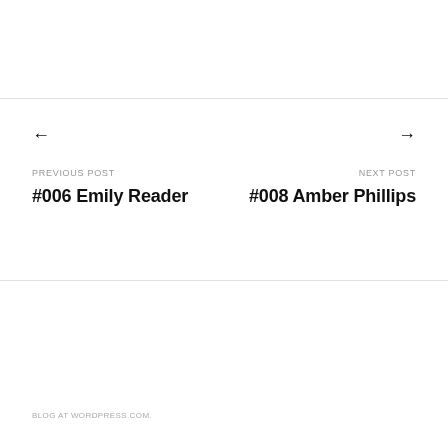← PREVIOUS POST #006 Emily Reader
→ NEXT POST #008 Amber Phillips
BLOG AT WORDPRESS.COM.